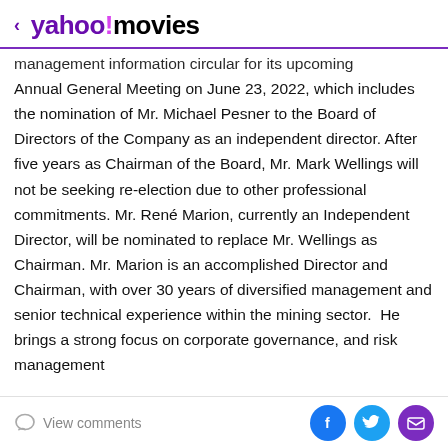< yahoo!movies
management information circular for its upcoming Annual General Meeting on June 23, 2022, which includes the nomination of Mr. Michael Pesner to the Board of Directors of the Company as an independent director. After five years as Chairman of the Board, Mr. Mark Wellings will not be seeking re-election due to other professional commitments. Mr. René Marion, currently an Independent Director, will be nominated to replace Mr. Wellings as Chairman. Mr. Marion is an accomplished Director and Chairman, with over 30 years of diversified management and senior technical experience within the mining sector.  He brings a strong focus on corporate governance, and risk management with significant expertise in corporate and...
View comments